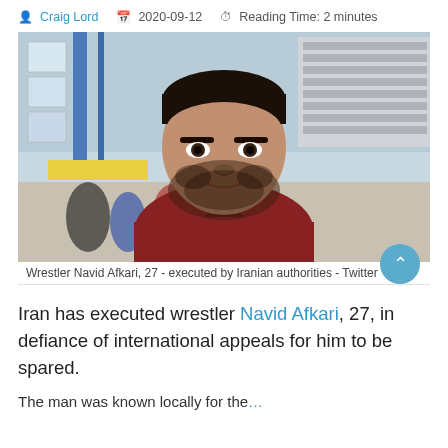Craig Lord  2020-09-12  Reading Time: 2 minutes
[Figure (photo): Photo of wrestler Navid Afkari, 27, a young man with dark hair and beard wearing a dark red/maroon v-neck shirt, photographed in a sports facility/gym with other athletes in the background.]
Wrestler Navid Afkari, 27 - executed by Iranian authorities - Twitter
Iran has executed wrestler Navid Afkari, 27, in defiance of international appeals for him to be spared.
The man was known locally for the...